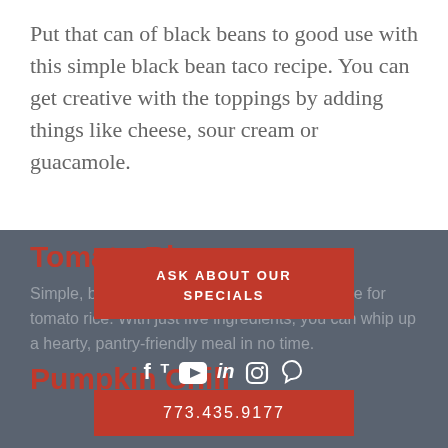Put that can of black beans to good use with this simple black bean taco recipe. You can get creative with the toppings by adding things like cheese, sour cream or guacamole.
Tomato Rice
Simple, but oh-so-delicious, we love this recipe for tomato rice. With just five ingredients, you can whip up a hearty, pantry-friendly meal in no time.
[Figure (infographic): Red popup overlay with text ASK ABOUT OUR SPECIALS, social media icons (Facebook, Twitter, YouTube, LinkedIn, Instagram, Pinterest), and phone number 773.435.9177]
Pumpkin Chili